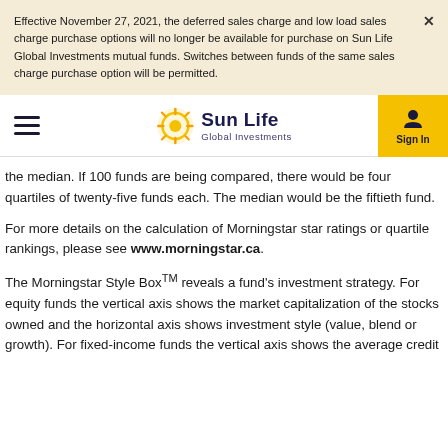Effective November 27, 2021, the deferred sales charge and low load sales charge purchase options will no longer be available for purchase on Sun Life Global Investments mutual funds. Switches between funds of the same sales charge purchase option will be permitted.
[Figure (logo): Sun Life Global Investments logo with hamburger menu and Sign In button]
the median. If 100 funds are being compared, there would be four quartiles of twenty-five funds each. The median would be the fiftieth fund.
For more details on the calculation of Morningstar star ratings or quartile rankings, please see www.morningstar.ca.
The Morningstar Style Box™ reveals a fund’s investment strategy. For equity funds the vertical axis shows the market capitalization of the stocks owned and the horizontal axis shows investment style (value, blend or growth). For fixed-income funds the vertical axis shows the average credit